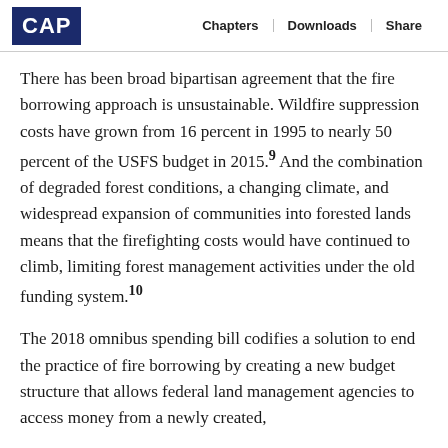CAP | Chapters | Downloads | Share
There has been broad bipartisan agreement that the fire borrowing approach is unsustainable. Wildfire suppression costs have grown from 16 percent in 1995 to nearly 50 percent of the USFS budget in 2015.9 And the combination of degraded forest conditions, a changing climate, and widespread expansion of communities into forested lands means that the firefighting costs would have continued to climb, limiting forest management activities under the old funding system.10
The 2018 omnibus spending bill codifies a solution to end the practice of fire borrowing by creating a new budget structure that allows federal land management agencies to access money from a newly created,